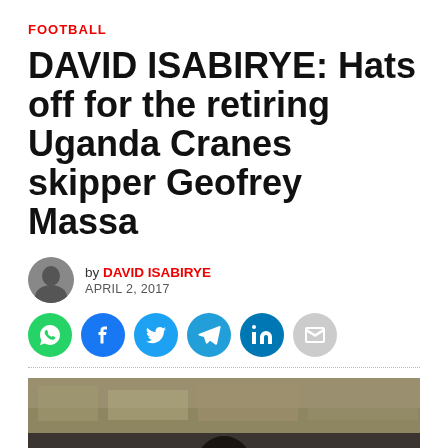FOOTBALL
DAVID ISABIRYE: Hats off for the retiring Uganda Cranes skipper Geofrey Massa
by DAVID ISABIRYE
APRIL 2, 2017
[Figure (infographic): Social share buttons: WhatsApp (green), Facebook (blue), Twitter (light blue), Telegram (blue), LinkedIn (dark blue), Email (grey)]
[Figure (photo): A man (Geofrey Massa) photographed at a football stadium with a blurred crowd in the background]